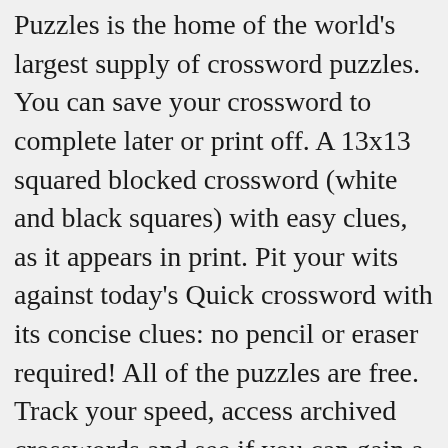Puzzles is the home of the world's largest supply of crossword puzzles. You can save your crossword to complete later or print off. A 13x13 squared blocked crossword (white and black squares) with easy clues, as it appears in print. Pit your wits against today's Quick crossword with its concise clues: no pencil or eraser required! All of the puzzles are free. Track your speed, access archived crosswords and see if you can gain a position in the top 10 leader board. Either fill in the grid online or print it out and fill it in with a pen. Finished too fast? Printable Crossword Puzzles for Kids. Print . Then you'll love Variety Prize Puzzles magazine. Printable Crossword Puzzle: June 2019. Play online in your browser. Prefer to print out the puzzle, click here. Quick Crossword players also enjoy: See More Games. Halloween Crosswords, Word Searches, and Games. Cryptic Crossword. Enjoy the Quick Crossword? Loading crossword puzzle. Quick Crossword. Free Online Quick...